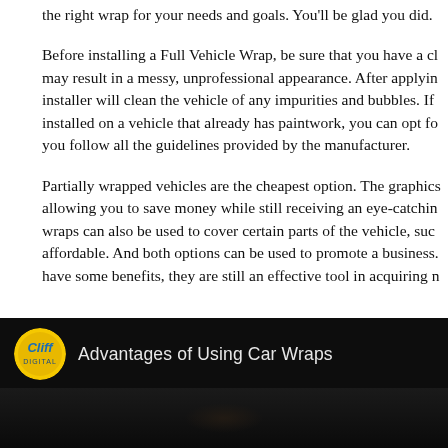the right wrap for your needs and goals. You'll be glad you did.
Before installing a Full Vehicle Wrap, be sure that you have a cl may result in a messy, unprofessional appearance. After applyin installer will clean the vehicle of any impurities and bubbles. If installed on a vehicle that already has paintwork, you can opt fo you follow all the guidelines provided by the manufacturer.
Partially wrapped vehicles are the cheapest option. The graphics allowing you to save money while still receiving an eye-catchin wraps can also be used to cover certain parts of the vehicle, suc affordable. And both options can be used to promote a business. have some benefits, they are still an effective tool in acquiring n
[Figure (screenshot): Video thumbnail with dark background showing 'Cliff Digital' logo (yellow circular logo with stylized text) and title 'Advantages of Using Car Wraps' in light gray text on black background.]